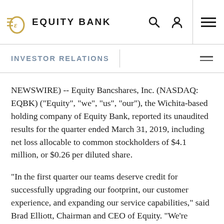Equity Bank — Investor Relations
INVESTOR RELATIONS
NEWSWIRE) -- Equity Bancshares, Inc. (NASDAQ: EQBK) (“Equity”, “we”, “us”, “our”), the Wichita-based holding company of Equity Bank, reported its unaudited results for the quarter ended March 31, 2019, including net loss allocable to common stockholders of $4.1 million, or $0.26 per diluted share.
“In the first quarter our teams deserve credit for successfully upgrading our footprint, our customer experience, and expanding our service capabilities,” said Brad Elliott, Chairman and CEO of Equity. “We’re pleased to add additional